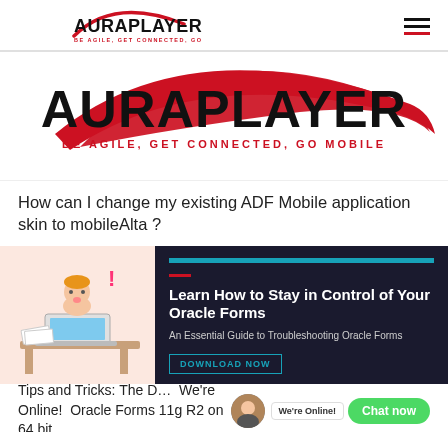[Figure (logo): AuraPlayer logo - small version in page header with red swoosh arc and tagline BE AGILE, GET CONNECTED, GO MOBILE]
[Figure (logo): AuraPlayer large logo banner with bold AURAPLAYER text, red swoosh arc above, and red tagline BE AGILE, GET CONNECTED, GO MOBILE]
How can I change my existing ADF Mobile application skin to mobileAlta ?
[Figure (illustration): Cartoon illustration of a stressed person at a desk with a laptop and exclamation mark, on pink/peach background]
[Figure (infographic): Dark promotional card titled Learn How to Stay in Control of Your Oracle Forms with subtitle An Essential Guide to Troubleshooting Oracle Forms and a DOWNLOAD NOW button]
Tips and Tricks: The D… We're Online! Oracle Forms 11g R2 on 64 bit…